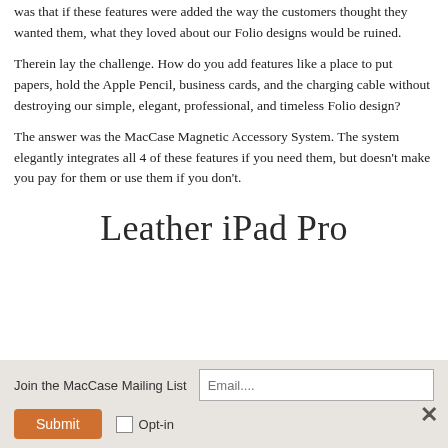was that if these features were added the way the customers thought they wanted them, what they loved about our Folio designs would be ruined.
Therein lay the challenge. How do you add features like a place to put papers, hold the Apple Pencil, business cards, and the charging cable without destroying our simple, elegant, professional, and timeless Folio design?
The answer was the MacCase Magnetic Accessory System. The system elegantly integrates all 4 of these features if you need them, but doesn't make you pay for them or use them if you don't.
Leather iPad Pro
Join the MacCase Mailing List  [Email input]  [Submit button]  [Opt-in checkbox]